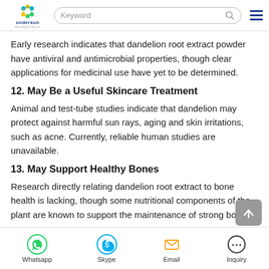Undersun Biomedtech — navigation bar with logo, search, and menu
Early research indicates that dandelion root extract powder have antiviral and antimicrobial properties, though clear applications for medicinal use have yet to be determined.
12. May Be a Useful Skincare Treatment
Animal and test-tube studies indicate that dandelion may protect against harmful sun rays, aging and skin irritations, such as acne. Currently, reliable human studies are unavailable.
13. May Support Healthy Bones
Research directly relating dandelion root extract to bone health is lacking, though some nutritional components of the plant are known to support the maintenance of strong bones.
Whatsapp | Skype | Email | Inquiry